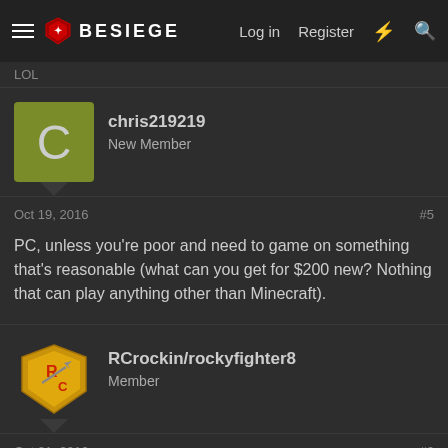≡ BESIEGE | Log in | Register | ⚡ | 🔍
LOL
chris219219
New Member
Oct 19, 2016  #5
PC, unless you're poor and need to game on something that's reasonable (what can you get for $200 new? Nothing that can play anything other than Minecraft).
RCrockin/rockyfighter8
Member
Oct 21, 2016  #6
PC s performance, modularity, and total control of your system, free range of any game, communities, and ability to multi - task + record